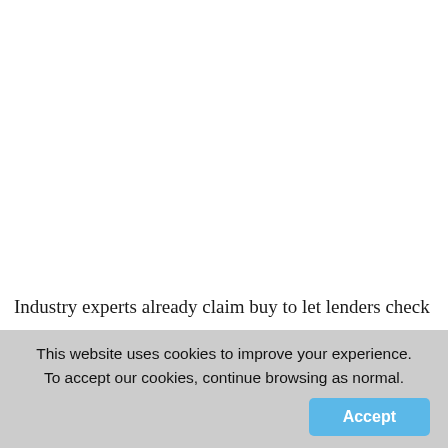Industry experts already claim buy to let lenders check
This website uses cookies to improve your experience. To accept our cookies, continue browsing as normal.